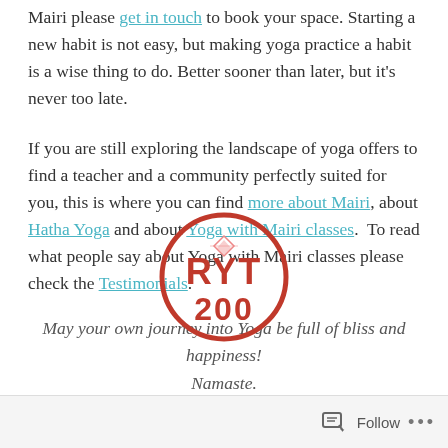Mairi please get in touch to book your space. Starting a new habit is not easy, but making yoga practice a habit is a wise thing to do. Better sooner than later, but it's never too late.
If you are still exploring the landscape of yoga offers to find a teacher and a community perfectly suited for you, this is where you can find more about Mairi, about Hatha Yoga and about Yoga with Mairi classes.  To read what people say about Yoga with Mairi classes please check the Testimonials.
May your own journey into Yoga be full of bliss and happiness! Namaste.
[Figure (logo): RYT 200 Yoga Alliance registered yoga teacher circular logo in red/orange]
Follow ...